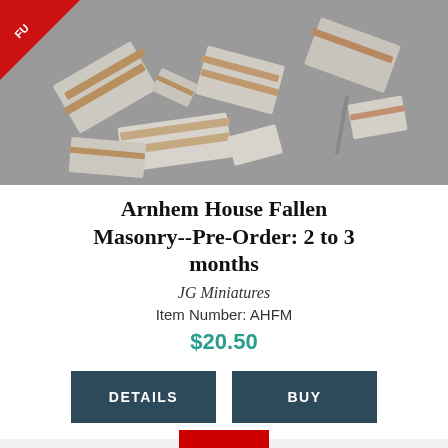[Figure (photo): Product photo of Arnhem House Fallen Masonry miniatures — scattered rubble/masonry pieces in white/grey and terracotta colors on a grey background, with a red 'FU' badge ribbon in the top-left corner.]
Arnhem House Fallen Masonry--Pre-Order: 2 to 3 months
JG Miniatures
Item Number: AHFM
$20.50
DETAILS
BUY